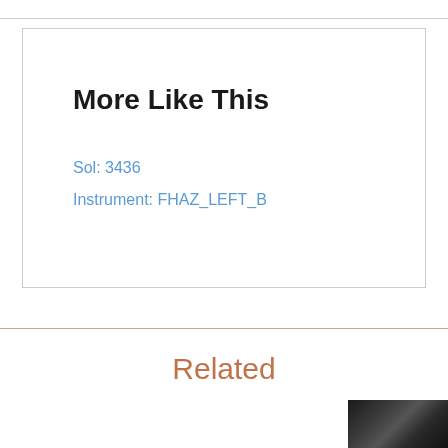More Like This
Sol: 3436
Instrument: FHAZ_LEFT_B
Related
[Figure (photo): Partial black and white photograph of Mars rover/terrain image, partially visible at bottom right corner]